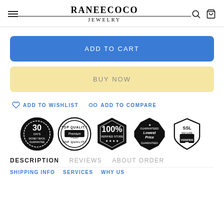RANEECOCO JEWELRY
ADD TO CART
BUY NOW
ADD TO WISHLIST
ADD TO COMPARE
[Figure (illustration): Five trust/security badge icons: 30 Days Money Back Guarantee, Top Quality Premium Product, 100% Verified Store, Guaranteed Lowest Price, SSL Secure Verified]
DESCRIPTION   REVIEWS   ABOUT ORDER
SHIPPING INFO   SERVICES   WHY US